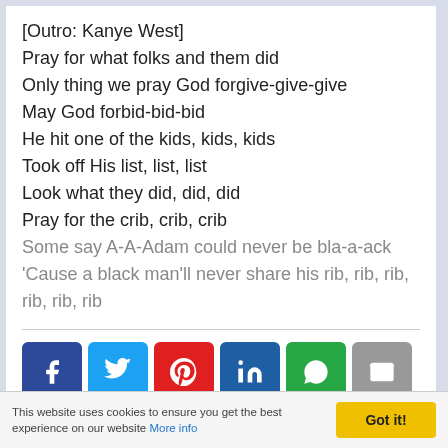[Outro: Kanye West]
Pray for what folks and them did
Only thing we pray God forgive-give-give
May God forbid-bid-bid
He hit one of the kids, kids, kids
Took off His list, list, list
Look what they did, did, did
Pray for the crib, crib, crib
Some say A-A-Adam could never be bla-a-ack
'Cause a black man'll never share his rib, rib, rib, rib, rib, rib
[Figure (other): Social media share buttons: Facebook, Twitter, Pinterest, LinkedIn, WhatsApp, Email]
This website uses cookies to ensure you get the best experience on our website More info
Got it!